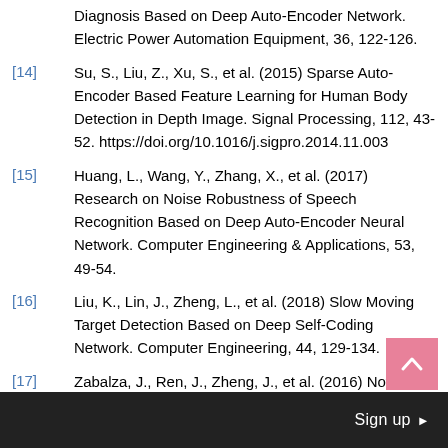Diagnosis Based on Deep Auto-Encoder Network. Electric Power Automation Equipment, 36, 122-126.
[14] Su, S., Liu, Z., Xu, S., et al. (2015) Sparse Auto-Encoder Based Feature Learning for Human Body Detection in Depth Image. Signal Processing, 112, 43-52. https://doi.org/10.1016/j.sigpro.2014.11.003
[15] Huang, L., Wang, Y., Zhang, X., et al. (2017) Research on Noise Robustness of Speech Recognition Based on Deep Auto-Encoder Neural Network. Computer Engineering & Applications, 53, 49-54.
[16] Liu, K., Lin, J., Zheng, L., et al. (2018) Slow Moving Target Detection Based on Deep Self-Coding Network. Computer Engineering, 44, 129-134.
[17] Zabalza, J., Ren, J., Zheng, J., et al. (2016) Novel Segmented Stacked Autoencoder for Effective...